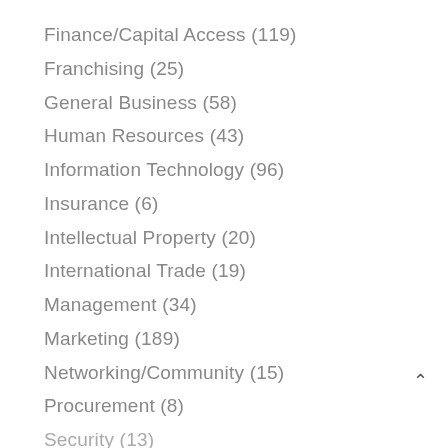Finance/Capital Access (119)
Franchising (25)
General Business (58)
Human Resources (43)
Information Technology (96)
Insurance (6)
Intellectual Property (20)
International Trade (19)
Management (34)
Marketing (189)
Networking/Community (15)
Procurement (8)
Security (13)